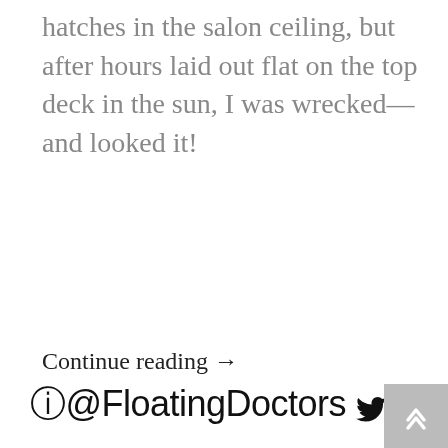hatches in the salon ceiling, but after hours laid out flat on the top deck in the sun, I was wrecked—and looked it!
Continue reading →
◎@FloatingDoctors 🐦 f